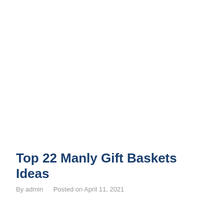Top 22 Manly Gift Baskets Ideas
By admin   Posted on April 11, 2021